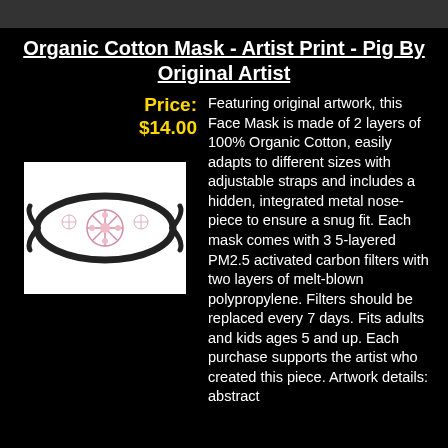Organic Cotton Mask - Artist Print - Pig By Original Artist
Price: $14.00
[Figure (photo): Face mask with decorative pink/red floral print on white fabric with dark elastic straps]
Featuring original artwork, this Face Mask is made of 2 layers of 100% Organic Cotton, easily adapts to different sizes with adjustable straps and includes a hidden, integrated metal nose-piece to ensure a snug fit. Each mask comes with 3 5-layered PM2.5 activated carbon filters with two layers of melt-blown polypropylene. Filters should be replaced every 7 days. Fits adults and kids ages 5 and up. Each purchase supports the artist who created this piece. Artwork details: abstract